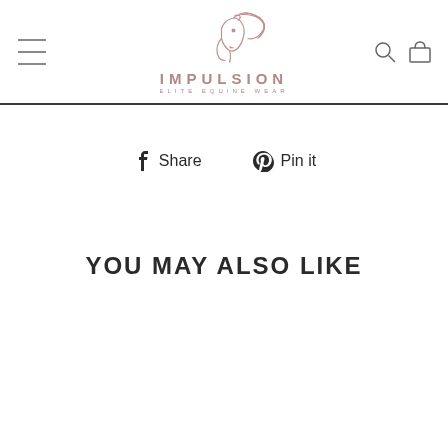IMPULSION ELITE EQUINE WEAR
Share  Pin it
YOU MAY ALSO LIKE